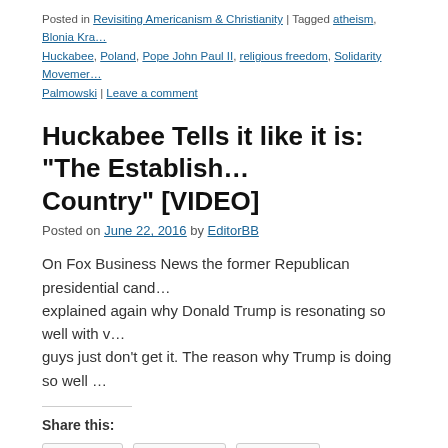Posted in Revisiting Americanism & Christianity | Tagged atheism, Blonia Kra... Huckabee, Poland, Pope John Paul II, religious freedom, Solidarity Movemer... Palmowski | Leave a comment
Huckabee Tells it like it is: “The Establish... Country” [VIDEO]
Posted on June 22, 2016 by EditorBB
On Fox Business News the former Republican presidential cand... explained again why Donald Trump is resonating so well with v... guys just don’t get it. The reason why Trump is doing so well …
Share this:
Print  Twitter  More
Like this:
Loading